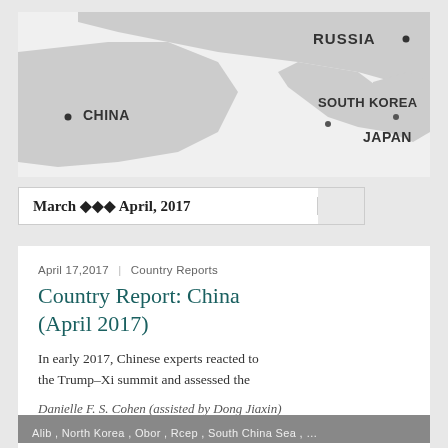[Figure (map): Map of East Asia showing Russia, China, South Korea, and Japan with dot markers]
March ♦♦♦ April, 2017
April 17,2017  |  Country Reports
Country Report: China (April 2017)
In early 2017, Chinese experts reacted to the Trump–Xi summit and assessed the
Danielle F. S. Cohen (assisted by Dong Jiaxin)
Alib , North Korea , Obor , Rcep , South China Sea , …
March 27,2017  |  Country Reports